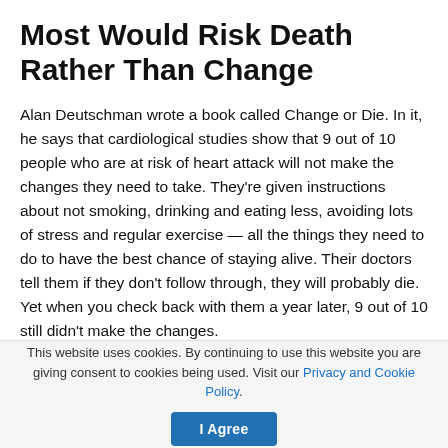Most Would Risk Death Rather Than Change
Alan Deutschman wrote a book called Change or Die. In it, he says that cardiological studies show that 9 out of 10 people who are at risk of heart attack will not make the changes they need to take. They're given instructions about not smoking, drinking and eating less, avoiding lots of stress and regular exercise — all the things they need to do to have the best chance of staying alive. Their doctors tell them if they don't follow through, they will probably die. Yet when you check back with them a year later, 9 out of 10 still didn't make the changes.
This website uses cookies. By continuing to use this website you are giving consent to cookies being used. Visit our Privacy and Cookie Policy.